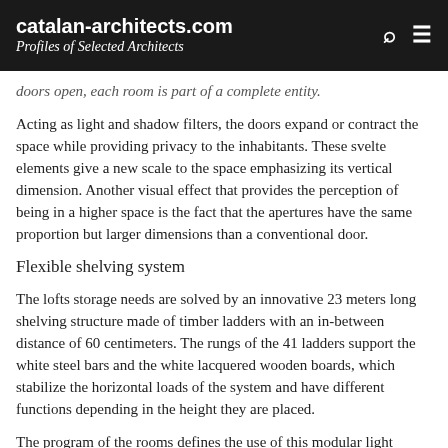catalan-architects.com
Profiles of Selected Architects
doors open, each room is part of a complete entity.
Acting as light and shadow filters, the doors expand or contract the space while providing privacy to the inhabitants. These svelte elements give a new scale to the space emphasizing its vertical dimension. Another visual effect that provides the perception of being in a higher space is the fact that the apertures have the same proportion but larger dimensions than a conventional door.
Flexible shelving system
The lofts storage needs are solved by an innovative 23 meters long shelving structure made of timber ladders with an in-between distance of 60 centimeters. The rungs of the 41 ladders support the white steel bars and the white lacquered wooden boards, which stabilize the horizontal loads of the system and have different functions depending in the height they are placed.
The program of the rooms defines the use of this modular light system; in the living rooms it serves as a large bench and a library, in the bedrooms it is an open wardrobe, in the laundry room it integrates the clothes dryer and washing machine, in the kitchens